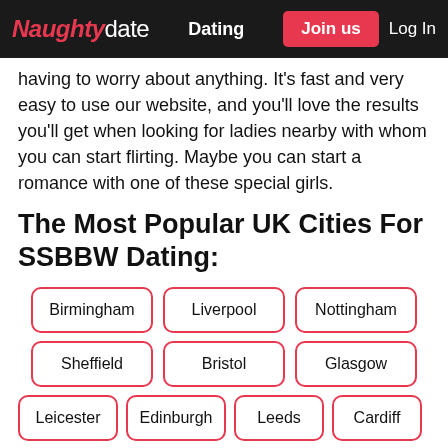Naughtydate | Dating | Join us | Log In
having to worry about anything. It’s fast and very easy to use our website, and you’ll love the results you’ll get when looking for ladies nearby with whom you can start flirting. Maybe you can start a romance with one of these special girls.
The Most Popular UK Cities For SSBBW Dating:
Birmingham
Liverpool
Nottingham
Sheffield
Bristol
Glasgow
Leicester
Edinburgh
Leeds
Cardiff
The Most Popular ...